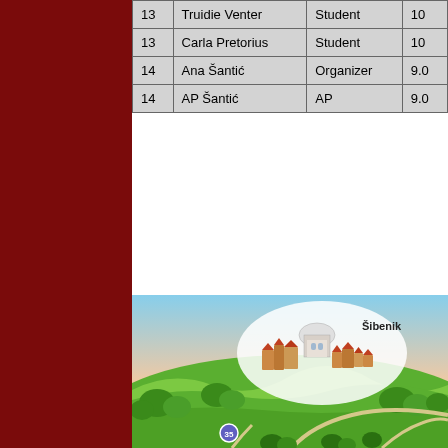|  | Name | Role | Score |
| --- | --- | --- | --- |
| 13 | Truidie Venter | Student | 10 |
| 13 | Carla Pretorius | Student | 10 |
| 14 | Ana Šantić | Organizer | 9.0 |
| 14 | AP Šantić | AP | 9.0 |
[Figure (map): Illustrated map showing the city of Šibenik with a cathedral/church building visible on a hill surrounded by green trees and landscape. A road sign marked 35 is visible in the lower portion.]